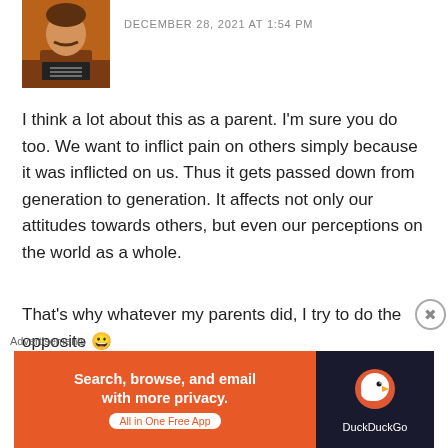[Figure (photo): Avatar photo of a man with a mustache in a brown shirt, resembling a mugshot]
DECEMBER 28, 2021 AT 1:54 PM
I think a lot about this as a parent. I'm sure you do too. We want to inflict pain on others simply because it was inflicted on us. Thus it gets passed down from generation to generation. It affects not only our attitudes towards others, but even our perceptions on the world as a whole.
That's why whatever my parents did, I try to do the opposite 😀
(Btw, got the shirt and coasters. They're great! Thank you
Advertisements
[Figure (screenshot): DuckDuckGo advertisement banner: 'Search, browse, and email with more privacy. All in One Free App' on orange background with DuckDuckGo logo on dark background]